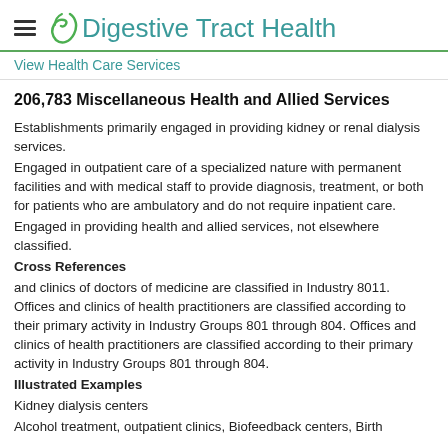Digestive Tract Health
View Health Care Services
206,783 Miscellaneous Health and Allied Services
Establishments primarily engaged in providing kidney or renal dialysis services.
Engaged in outpatient care of a specialized nature with permanent facilities and with medical staff to provide diagnosis, treatment, or both for patients who are ambulatory and do not require inpatient care.
Engaged in providing health and allied services, not elsewhere classified.
Cross References
and clinics of doctors of medicine are classified in Industry 8011. Offices and clinics of health practitioners are classified according to their primary activity in Industry Groups 801 through 804. Offices and clinics of health practitioners are classified according to their primary activity in Industry Groups 801 through 804.
Illustrated Examples
Kidney dialysis centers
Alcohol treatment, outpatient clinics, Biofeedback centers, Birth